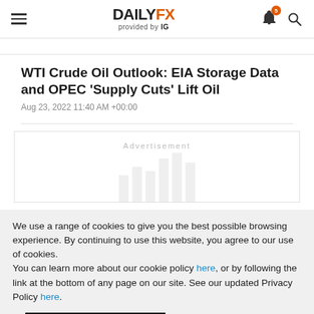DAILYFX provided by IG
WTI Crude Oil Outlook: EIA Storage Data and OPEC ‘Supply Cuts’ Lift Oil
Aug 23, 2022 11:40 AM +00:00
[Figure (other): Advertisement placeholder box with bar chart silhouette]
We use a range of cookies to give you the best possible browsing experience. By continuing to use this website, you agree to our use of cookies.
You can learn more about our cookie policy here, or by following the link at the bottom of any page on our site. See our updated Privacy Policy here.
Accept